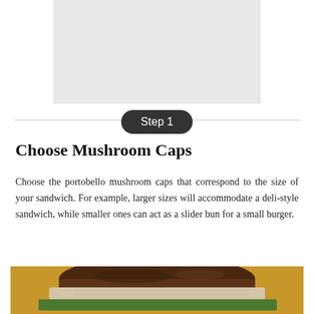[Figure (photo): Gray placeholder rectangle representing a food/mushroom image at top of page]
Step 1
Choose Mushroom Caps
Choose the portobello mushroom caps that correspond to the size of your sandwich. For example, larger sizes will accommodate a deli-style sandwich, while smaller ones can act as a slider bun for a small burger.
[Figure (photo): Photo of a portobello mushroom cap burger/sandwich with lettuce, visible from the side, warm golden/amber background]